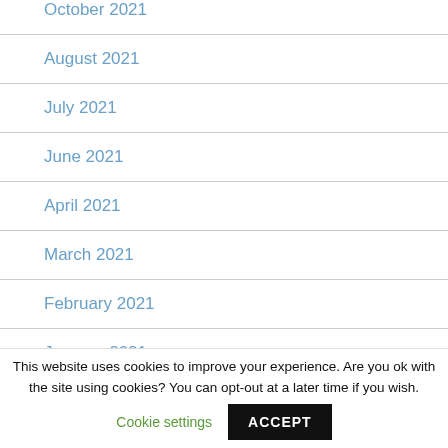October 2021
August 2021
July 2021
June 2021
April 2021
March 2021
February 2021
January 2021
This website uses cookies to improve your experience. Are you ok with the site using cookies? You can opt-out at a later time if you wish. Cookie settings ACCEPT